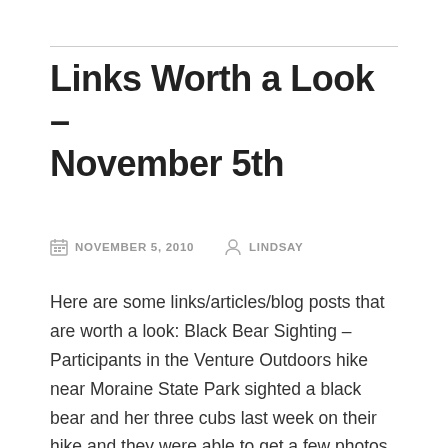Links Worth a Look – November 5th
NOVEMBER 5, 2010   LINDSAY
Here are some links/articles/blog posts that are worth a look: Black Bear Sighting – Participants in the Venture Outdoors hike near Moraine State Park sighted a black bear and her three cubs last week on their hike and they were able to get a few photos too. Upper Lawrenceville's MauraMori Cafe keeps breakfast and lunch in the neighborhood – New cafe opens in Uppler Lawrenceville. PopCity checks out this new breakfast and lunch spot. The Squirrel in His Racing Club. Host on the Ellipsis...